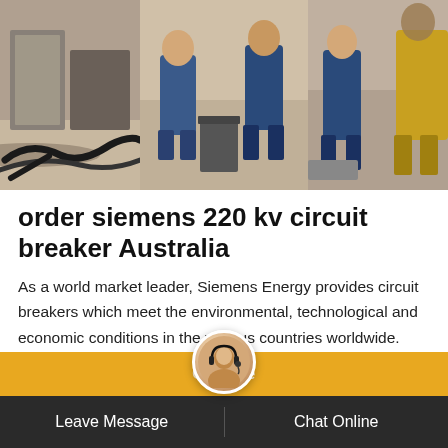[Figure (photo): Workers in blue overalls working outdoors with cables and equipment at what appears to be an electrical installation site. Three-panel composite photo showing workers, a bin, and equipment.]
order siemens 220 kv circuit breaker Australia
As a world market leader, Siemens Energy provides circuit breakers which meet the environmental, technological and economic conditions in the various countries worldwide. Coils With more than 50 years of successful field experience, Trench is the recognized world leader in the design and manufacture of air-core, dry-type, power reactors for all utility and industrial